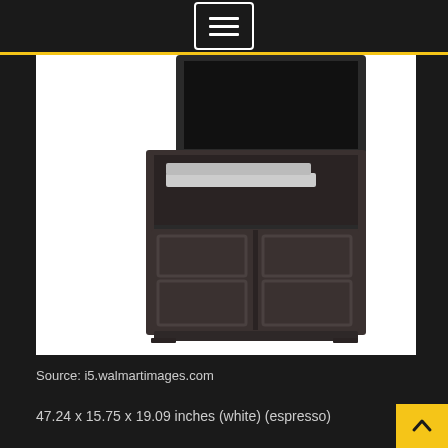Navigation menu icon
[Figure (photo): Dark espresso corner TV stand with two cabinet doors featuring raised panel design and an open shelf holding media components. A black television sits on top. White background product photo.]
Source: i5.walmartimages.com
47.24 x 15.75 x 19.09 inches (white) (espresso)